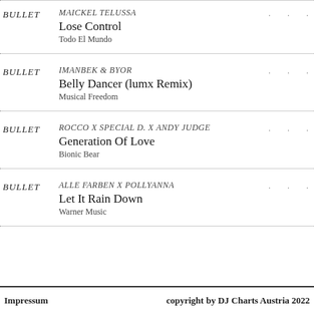BULLET | MAICKEL TELUSSA | Lose Control | Todo El Mundo
BULLET | IMANBEK & BYOR | Belly Dancer (lumx Remix) | Musical Freedom
BULLET | ROCCO X SPECIAL D. X ANDY JUDGE | Generation Of Love | Bionic Bear
BULLET | ALLE FARBEN X POLLYANNA | Let It Rain Down | Warner Music
Impressum    copyright by DJ Charts Austria 2022